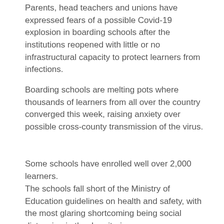Parents, head teachers and unions have expressed fears of a possible Covid-19 explosion in boarding schools after the institutions reopened with little or no infrastructural capacity to protect learners from infections.
Boarding schools are melting pots where thousands of learners from all over the country converged this week, raising anxiety over possible cross-county transmission of the virus.
Some schools have enrolled well over 2,000 learners.
The schools fall short of the Ministry of Education guidelines on health and safety, with the most glaring shortcoming being social distancing in the dormitories.